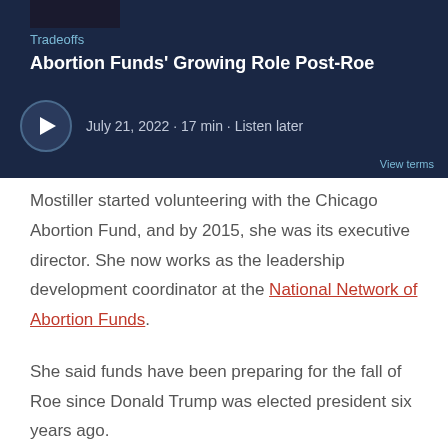[Figure (screenshot): Podcast player card with dark navy background showing 'Tradeoffs' label, title 'Abortion Funds' Growing Role Post-Roe', play button, and metadata: July 21, 2022 · 17 min · Listen later]
Mostiller started volunteering with the Chicago Abortion Fund, and by 2015, she was its executive director. She now works as the leadership development coordinator at the National Network of Abortion Funds.
She said funds have been preparing for the fall of Roe since Donald Trump was elected president six years ago.
“It’s just real now,” she said. “They need all the support they can get.”